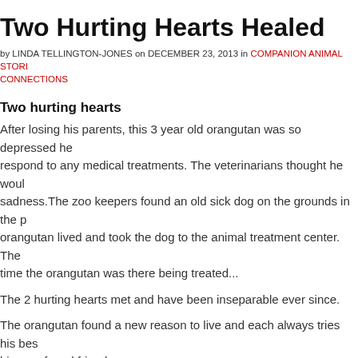Two Hurting Hearts Healed
by LINDA TELLINGTON-JONES on DECEMBER 23, 2013 in COMPANION ANIMAL STORIES, CONNECTIONS
Two hurting hearts
After losing his parents, this 3 year old orangutan was so depressed he would not respond to any medical treatments. The veterinarians thought he would die of sadness.The zoo keepers found an old sick dog on the grounds in the park where the orangutan lived and took the dog to the animal treatment center. The dog arrived at the same time the orangutan was there being treated...
The 2 hurting hearts met and have been inseparable ever since.
The orangutan found a new reason to live and each always tries his best to take care of his new found friend.
They are together 24 hours a day in all their activities.
[Figure (photo): Image placeholder showing broken image icon]